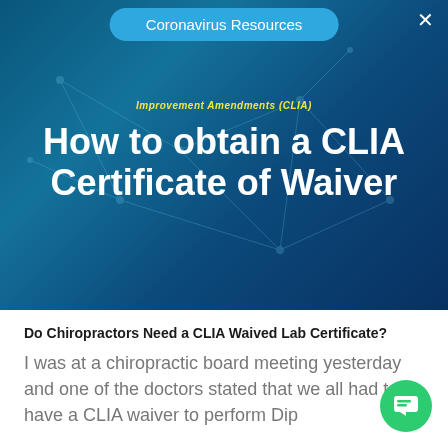Coronavirus Resources
[Figure (illustration): Hero banner with blue network/molecule background showing title 'How to obtain a CLIA Certificate of Waiver' in white bold text, with yellow italic subtitle 'Improvement Amendments (CLIA)' above it]
Do Chiropractors Need a CLIA Waived Lab Certificate?
I was at a chiropractic board meeting yesterday and one of the doctors stated that we all had to have a CLIA waiver to perform Dip